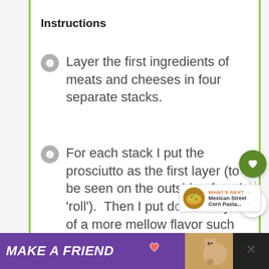Instructions
Layer the first ingredients of meats and cheeses in four separate stacks.
For each stack I put the prosciutto as the first layer (to be seen on the outside of each 'roll').  Then I put down a layer of a more mellow flavor such as ham, and at